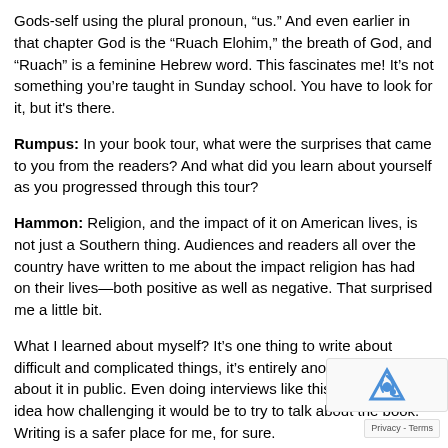Gods-self using the plural pronoun, “us.” And even earlier in that chapter God is the “Ruach Elohim,” the breath of God, and “Ruach” is a feminine Hebrew word. This fascinates me! It’s not something you’re taught in Sunday school. You have to look for it, but it's there.
Rumpus: In your book tour, what were the surprises that came to you from the readers? And what did you learn about yourself as you progressed through this tour?
Hammon: Religion, and the impact of it on American lives, is not just a Southern thing. Audiences and readers all over the country have written to me about the impact religion has had on their lives—both positive as well as negative. That surprised me a little bit.
What I learned about myself? It’s one thing to write about difficult and complicated things, it’s entirely another to talk about it in public. Even doing interviews like this one—I had no idea how challenging it would be to try to talk about the book. Writing is a safer place for me, for sure.
Rumpus: What is the biggest misconception you think reade… about the memoir, and about the megachurch world you inh…